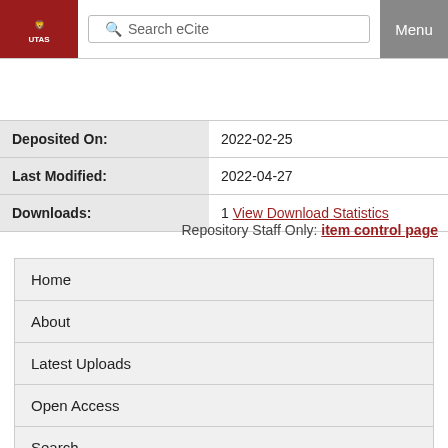Search eCite | Menu
| Field | Value |
| --- | --- |
| Deposited On: | 2022-02-25 |
| Last Modified: | 2022-04-27 |
| Downloads: | 1 View Download Statistics |
Repository Staff Only: item control page
Home
About
Latest Uploads
Open Access
Search